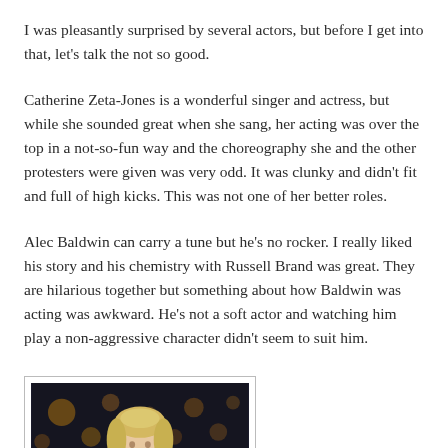I was pleasantly surprised by several actors, but before I get into that, let's talk the not so good.
Catherine Zeta-Jones is a wonderful singer and actress, but while she sounded great when she sang, her acting was over the top in a not-so-fun way and the choreography she and the other protesters were given was very odd. It was clunky and didn't fit and full of high kicks. This was not one of her better roles.
Alec Baldwin can carry a tune but he's no rocker. I really liked his story and his chemistry with Russell Brand was great. They are hilarious together but something about how Baldwin was acting was awkward. He's not a soft actor and watching him play a non-aggressive character didn't seem to suit him.
[Figure (photo): A photo showing a person with blonde hair against a dark background with bokeh lights visible]